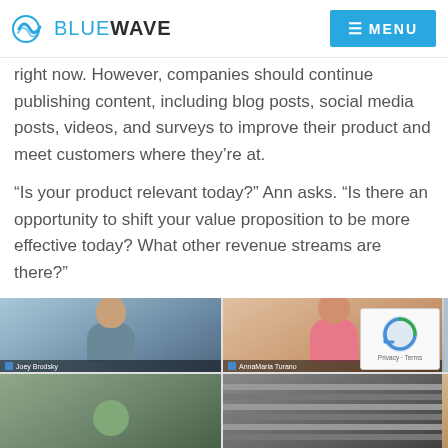BLUEWAVE — MENU
right now. However, companies should continue publishing content, including blog posts, social media posts, videos, and surveys to improve their product and meet customers where they're at.
“Is your product relevant today?” Ann asks. “Is there an opportunity to shift your value proposition to be more effective today? What other revenue streams are there?”
[Figure (screenshot): Video conference grid showing six participants in two rows: Joey Brodsky, AnnaMaria Turano, Lauren Clements (top row), and three more participants (bottom row, partially visible). A reCAPTCHA widget overlays the bottom-right corner.]